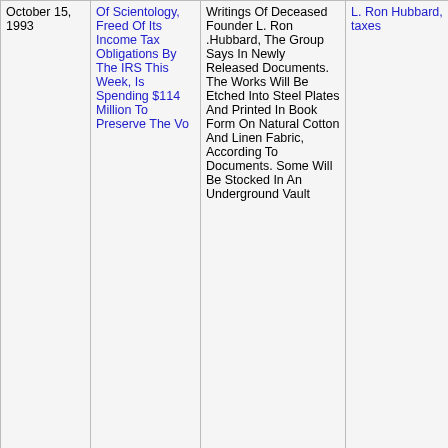| Date | Title | Excerpt | Tags |
| --- | --- | --- | --- |
| October 15, 1993 | Of Scientology, Freed Of Its Income Tax Obligations By The IRS This Week, Is Spending $114 Million To Preserve The Vo | Writings Of Deceased Founder L. Ron .Hubbard, The Group Says In Newly Released Documents. The Works Will Be Etched Into Steel Plates And Printed In Book Form On Natural Cotton And Linen Fabric, According To Documents. Some Will Be Stocked In An Underground Vault | L. Ron Hubbard, taxes |
| April 11, 1993 | You Should Apologize For Hubbard Day Story | Charlotte Observer: You Should Apologize For Hubbard Day Story | L. Ron Hubbard |
|  | L. Ron Hubbard Day? Officials Need To Wake Up | Charlotte Observer: L. Ron Hubbard Day? Officials Need To Wake Up Council |  |